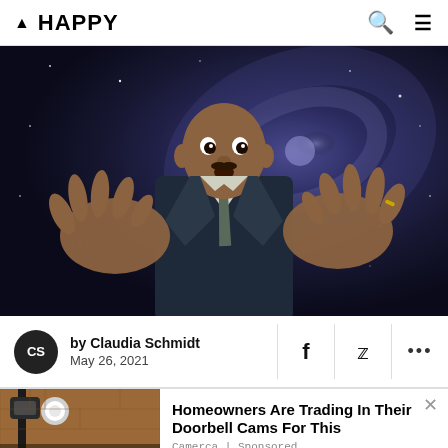▲ HAPPY
[Figure (photo): A man in a dark suit with his hands spread wide toward the camera, with a galaxy/space background behind him]
by Claudia Schmidt
May 26, 2021
Homeowners Are Trading In Their Doorbell Cams For This
Camerca | Sponsored